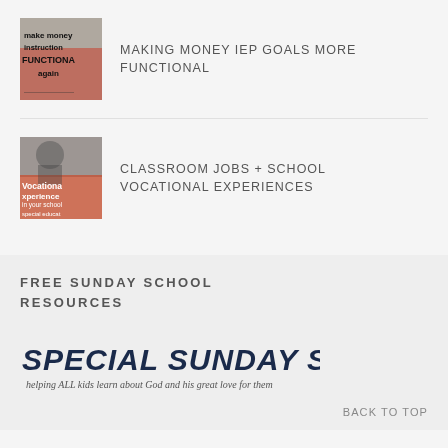[Figure (photo): Thumbnail image with text overlay reading 'make money instruction FUNCTIONAL again']
MAKING MONEY IEP GOALS MORE FUNCTIONAL
[Figure (photo): Thumbnail image with text overlay reading 'Vocational experiences in your school special education']
CLASSROOM JOBS + SCHOOL VOCATIONAL EXPERIENCES
FREE SUNDAY SCHOOL RESOURCES
[Figure (logo): Special Sunday School logo with stylized text reading 'SPECIAL SUNDAY SCHOOL' and subtitle 'helping ALL kids learn about God and his great love for them']
BACK TO TOP